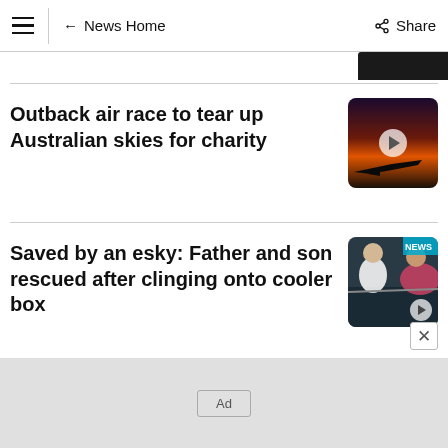≡ | ← News Home   Share
Outback air race to tear up Australian skies for charity
Saved by an esky: Father and son rescued after clinging onto cooler box
Ad